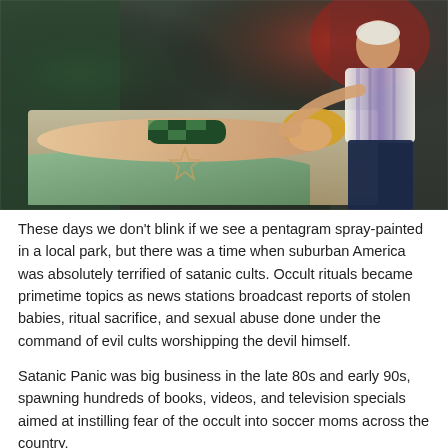[Figure (photo): A staged scene showing a woman in a checkered bikini lying in what appears to be a coffin or table, with a star/pentagram drawn on her stomach, while another person in a patterned shirt leans over her. The background has dark green and red lighting.]
These days we don't blink if we see a pentagram spray-painted in a local park, but there was a time when suburban America was absolutely terrified of satanic cults. Occult rituals became primetime topics as news stations broadcast reports of stolen babies, ritual sacrifice, and sexual abuse done under the command of evil cults worshipping the devil himself.
Satanic Panic was big business in the late 80s and early 90s, spawning hundreds of books, videos, and television specials aimed at instilling fear of the occult into soccer moms across the country,